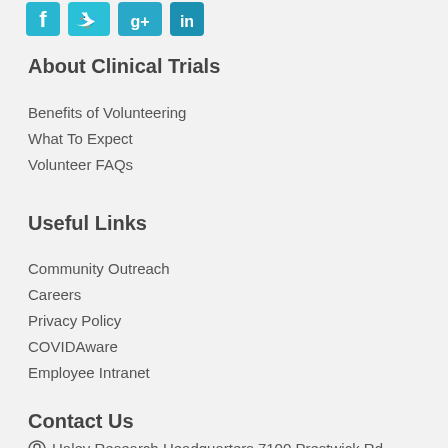[Figure (logo): Social media icons: Facebook, Twitter, Google+, LinkedIn in teal/cyan color]
About Clinical Trials
Benefits of Volunteering
What To Expect
Volunteer FAQs
Useful Links
Community Outreach
Careers
Privacy Policy
COVIDAware
Employee Intranet
Contact Us
Haley Research Headquarters 7100 Prestwick Rd...